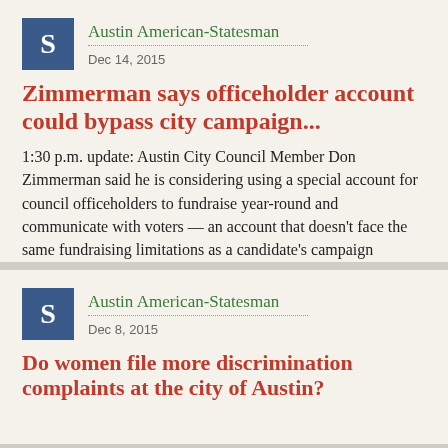Austin American-Statesman · Dec 14, 2015
Zimmerman says officeholder account could bypass city campaign...
1:30 p.m. update: Austin City Council Member Don Zimmerman said he is considering using a special account for council officeholders to fundraise year-round and communicate with voters — an account that doesn't face the same fundraising limitations as a candidate's campaign account. → Read More
Austin American-Statesman · Dec 8, 2015
Do women file more discrimination complaints at the city of Austin?